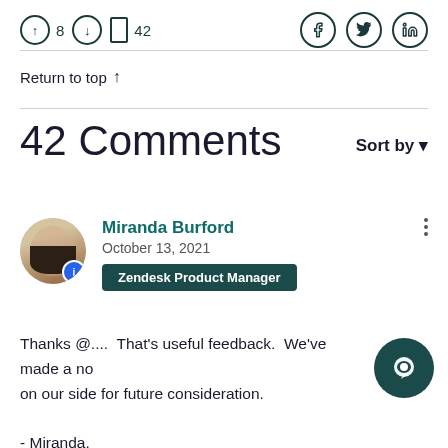8  42  [Facebook] [Twitter] [LinkedIn]
Return to top ↑
42 Comments
Sort by ▾
Miranda Burford
October 13, 2021
Zendesk Product Manager
Thanks @....  That's useful feedback.  We've made a note on our side for future consideration.

- Miranda.